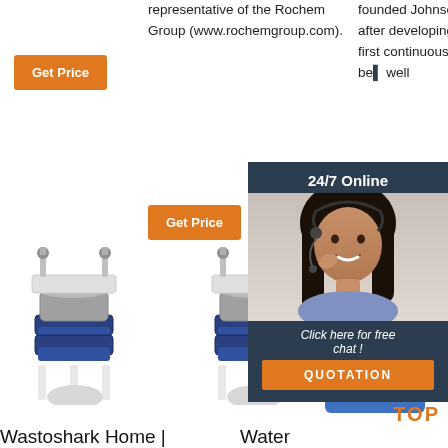Get Price
representative of the Rochem Group (www.rochemgroup.com).
founded Johnson Screens after developing the world's first continuous slot wire... to be... well
Get Price
24/7 Online
[Figure (photo): Customer service representative woman with headset, smiling]
Click here for free chat !
QUOTATION
G
[Figure (photo): Industrial vibrating sieve/screen machine, white and dark blue]
[Figure (photo): Industrial vibrating sieve/screen machine, white and dark blue]
[Figure (photo): Industrial sieve machine, blue base]
TOP
Wastoshark Home |
Water